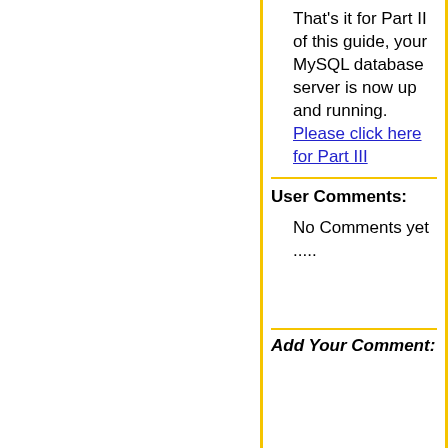That's it for Part II of this guide, your MySQL database server is now up and running. Please click here for Part III
User Comments:
No Comments yet .....
Add Your Comment: